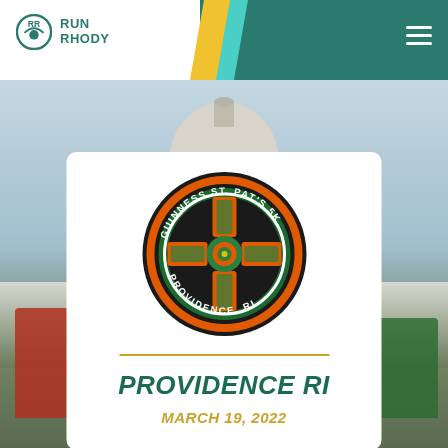RUN RHODY
[Figure (photo): Outdoor race photo with runners in green St. Patrick's Day attire in front of a large government building dome (Rhode Island State House), with a blue sky backdrop]
[Figure (logo): Guinness St. Pat's 5K Providence, RI circular race logo with Celtic cross design in orange, green, and gold on black background]
PROVIDENCE RI
MARCH 19, 2022